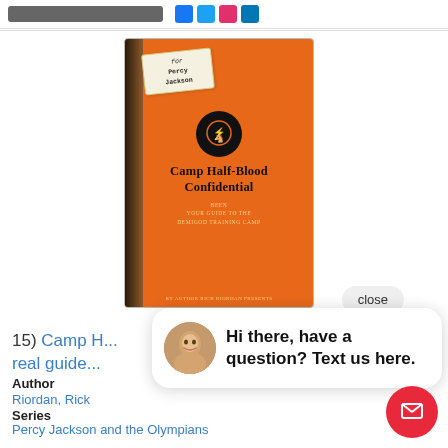[Figure (screenshot): Top navigation bar with search bar placeholder and social media icons]
[Figure (photo): Book cover of Camp Half-Blood Confidential by Rick Riordan - orange cover with Camp Half-Blood logo, sticky note addressed to Percy Jackson]
[Figure (photo): Chat popup with avatar photo of a smiling man and message: Hi there, have a question? Text us here.]
close
15) Camp H... real guide...
Author
Riordan, Rick
Series
Percy Jackson and the Olympians
Accelerated Reader
IL: MG - BL: 5.5 - AR Pts: 3
Language